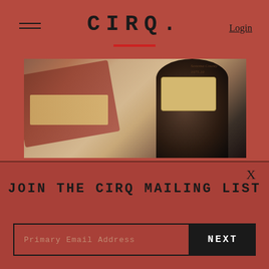CIRQ.
Login
[Figure (photo): Close-up photo of a wine bottle base with a tan label showing cursive text, next to a dark wooden or leather board with printed elements, on a grey surface.]
X
JOIN THE CIRQ MAILING LIST
Primary Email Address
NEXT